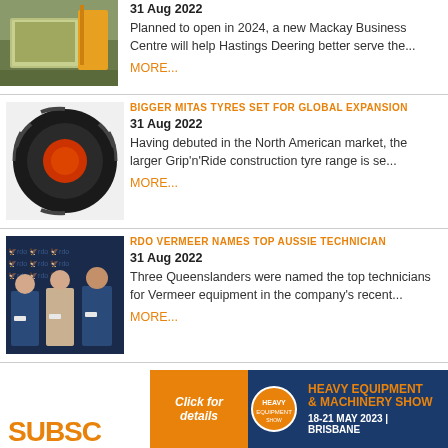[Figure (photo): Building exterior with construction equipment, Mackay Business Centre]
31 Aug 2022
Planned to open in 2024, a new Mackay Business Centre will help Hastings Deering better serve the...
MORE...
[Figure (photo): Large black and red Mitas tyre for construction vehicles]
BIGGER MITAS TYRES SET FOR GLOBAL EXPANSION
31 Aug 2022
Having debuted in the North American market, the larger Grip'n'Ride construction tyre range is se...
MORE...
[Figure (photo): Three men in suits holding certificates at an RDO event backdrop]
RDO VERMEER NAMES TOP AUSSIE TECHNICIAN
31 Aug 2022
Three Queenslanders were named the top technicians for Vermeer equipment in the company's recent...
MORE...
[Figure (infographic): Heavy Equipment & Machinery Show banner ad: Click for details, 18-21 May 2023, Brisbane]